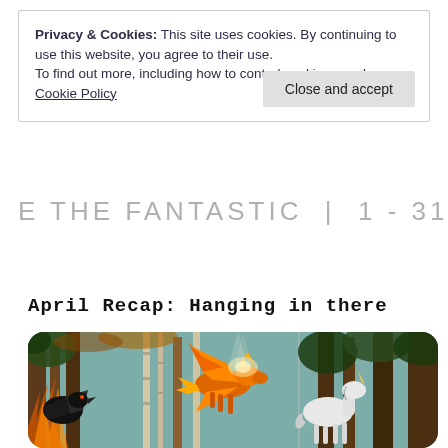Privacy & Cookies: This site uses cookies. By continuing to use this website, you agree to their use.
To find out more, including how to control cookies, see here: Cookie Policy
THE FANTASTIC | 1 - 31 MAY
April Recap: Hanging in there
[Figure (illustration): Fantasy forest illustration showing a dark raven/crow on the left among burning trees, a glowing orange flying fox/pegasus in the center, and a white unicorn on the right, set against a teal/green sky background with tall pine and birch trees throughout.]